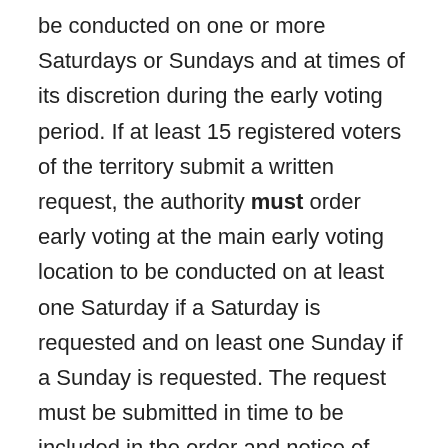be conducted on one or more Saturdays or Sundays and at times of its discretion during the early voting period. If at least 15 registered voters of the territory submit a written request, the authority must order early voting at the main early voting location to be conducted on at least one Saturday if a Saturday is requested and on least one Sunday if a Sunday is requested. The request must be submitted in time to be included in the order and notice of election. (Secs. 85.006; 85.007).
Note for Counties with Population of 100,000 or more: Early voting in the general election for state and county officers must be conducted at the main early voting location: (1) for at least 12 hours on each weekday of the last week of the early voting period